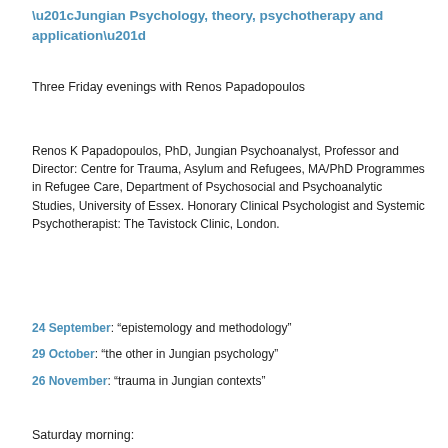“Jungian Psychology, theory, psychotherapy and application”
Three Friday evenings with Renos Papadopoulos
Renos K Papadopoulos, PhD, Jungian Psychoanalyst, Professor and Director: Centre for Trauma, Asylum and Refugees, MA/PhD Programmes in Refugee Care, Department of Psychosocial and Psychoanalytic Studies, University of Essex. Honorary Clinical Psychologist and Systemic Psychotherapist: The Tavistock Clinic, London.
24 September: “epistemology and methodology”
29 October: “the other in Jungian psychology”
26 November: “trauma in Jungian contexts”
Saturday morning: